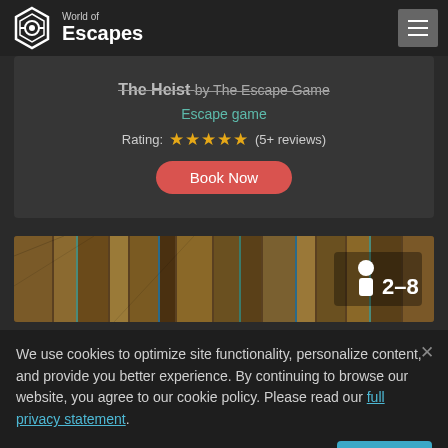World of Escapes
The Heist by The Escape Game
Escape game
Rating: ★★★★★ (5+ reviews)
Book Now
[Figure (photo): Wooden planks/books photo strip with capacity badge showing 2-8 players]
We use cookies to optimize site functionality, personalize content, and provide you better experience. By continuing to browse our website, you agree to our cookie policy. Please read our full privacy statement.
Accept